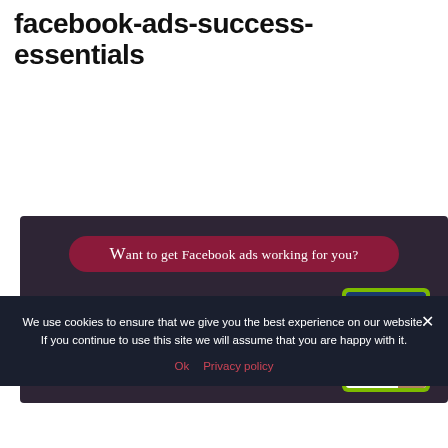facebook-ads-success-essentials
[Figure (infographic): Dark purple banner ad with red pill-shaped header reading 'Want to get Facebook ads working for you?' and body text 'For simply successful ads with no fuss or headaches, just CLICK NOW to get your essential FREE checklist.' with a green-bordered checklist image on the right.]
We use cookies to ensure that we give you the best experience on our website. If you continue to use this site we will assume that you are happy with it.
Ok   Privacy policy